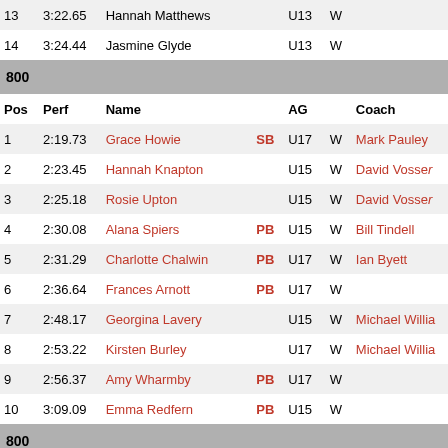| Pos | Perf | Name |  | AG |  | Coach |
| --- | --- | --- | --- | --- | --- | --- |
| 13 | 3:22.65 | Hannah Matthews |  | U13 | W |  |
| 14 | 3:24.44 | Jasmine Glyde |  | U13 | W |  |
| 800 |  |  |  |  |  |  |
| Pos | Perf | Name |  | AG |  | Coach |
| 1 | 2:19.73 | Grace Howie | SB | U17 | W | Mark Pauley |
| 2 | 2:23.45 | Hannah Knapton |  | U15 | W | David Vossen |
| 3 | 2:25.18 | Rosie Upton |  | U15 | W | David Vossen |
| 4 | 2:30.08 | Alana Spiers | PB | U15 | W | Bill Tindell |
| 5 | 2:31.29 | Charlotte Chalwin | PB | U17 | W | Ian Byett |
| 6 | 2:36.64 | Frances Arnott | PB | U17 | W |  |
| 7 | 2:48.17 | Georgina Lavery |  | U15 | W | Michael Willia |
| 8 | 2:53.22 | Kirsten Burley |  | U17 | W | Michael Willia |
| 9 | 2:56.37 | Amy Wharmby | PB | U17 | W |  |
| 10 | 3:09.09 | Emma Redfern | PB | U15 | W |  |
| 800 |  |  |  |  |  |  |
| Pos | Perf | Name |  | AG |  | Coach |
| 1 | 2:16.54 | Corin Bearpark |  | SEN | W | Michael Willia |
| 2 | 2:19.18 | Ian Stott | SB | V40 | M |  |
| 3 | 2:25.38 | Sophie Dundovic |  | U23 | W |  |
| 4 | 2:30.51 | Sid DeLara |  | V55 | M |  |
| 5 | 2:43.46 | Charlie Carter |  | U20 | W |  |
| 6 | 2:47.10 | Sarah Johnstone |  | U20 | W |  |
| 7 | 2:52.12 | Peter Haynes |  | V60 | M |  |